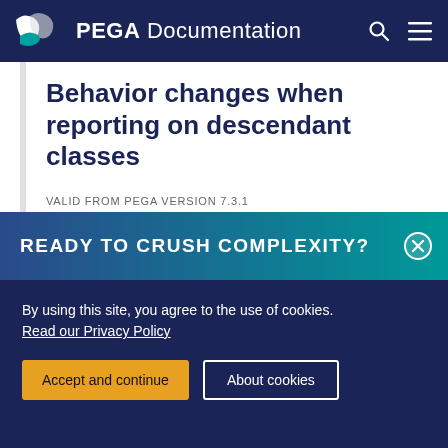PEGA Documentation
Behavior changes when reporting on descendant classes
VALID FROM PEGA VERSION 7.3.1
Report Definitions that use the Report on descendant class instances option with the Include all descendant classes option apply only to the Applies to Class. Join classes are not
READY TO CRUSH COMPLEXITY?
By using this site, you agree to the use of cookies. Read our Privacy Policy
Accept and continue   About cookies